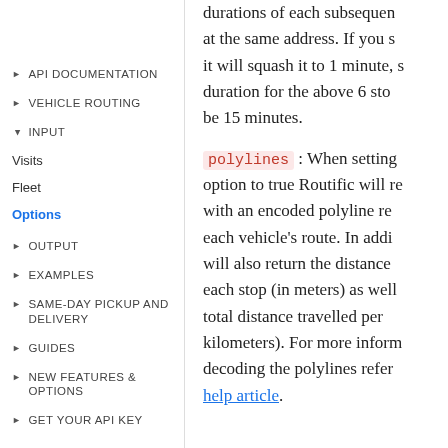API DOCUMENTATION
VEHICLE ROUTING
INPUT
Visits
Fleet
Options
OUTPUT
EXAMPLES
SAME-DAY PICKUP AND DELIVERY
GUIDES
NEW FEATURES & OPTIONS
GET YOUR API KEY
durations of each subsequent stop at the same address. If you set it will squash it to 1 minute, so duration for the above 6 stops would be 15 minutes.
polylines : When setting this option to true Routific will return with an encoded polyline representing each vehicle's route. In addition it will also return the distances to each stop (in meters) as well as the total distance travelled per vehicle (in kilometers). For more information on decoding the polylines refer to this help article.